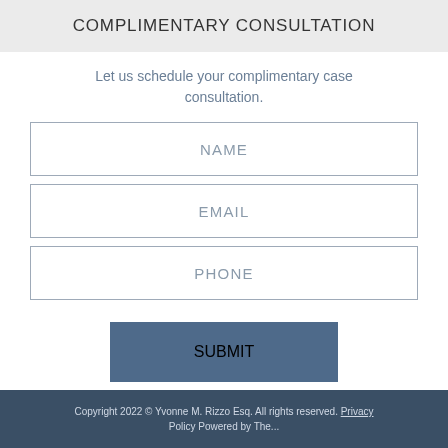COMPLIMENTARY CONSULTATION
Let us schedule your complimentary case consultation.
NAME
EMAIL
PHONE
SUBMIT
Copyright 2022 © Yvonne M. Rizzo Esq. All rights reserved. Privacy Policy Powered by The ...